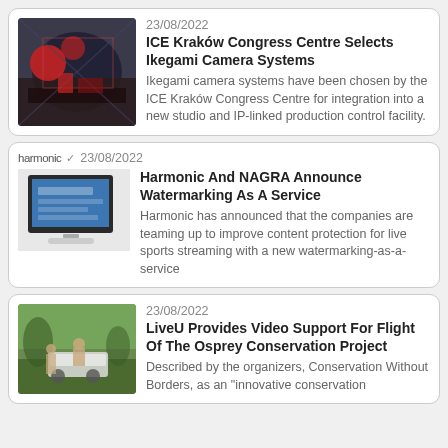[Figure (photo): News card 1: Photo of ICE Krakow Congress Centre interior with red lighting and modern architecture]
23/08/2022
ICE Kraków Congress Centre Selects Ikegami Camera Systems
Ikegami camera systems have been chosen by the ICE Kraków Congress Centre for integration into a new studio and IP-linked production control facility.
[Figure (photo): News card 2: Harmonic logo, monitor/iMac screenshot image]
23/08/2022
Harmonic And NAGRA Announce Watermarking As A Service
Harmonic has announced that the companies are teaming up to improve content protection for live sports streaming with a new watermarking-as-a-service
[Figure (photo): News card 3: Photo of people outdoors near a white vehicle, Wildlife/conservation theme]
23/08/2022
LiveU Provides Video Support For Flight Of The Osprey Conservation Project
Described by the organizers, Conservation Without Borders, as an "innovative conservation